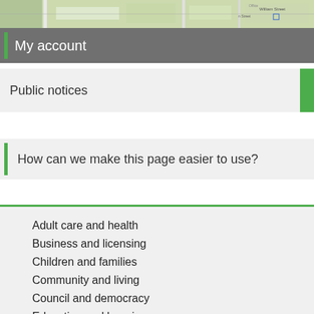[Figure (map): Street map aerial/tile image strip showing roads and buildings]
My account
Public notices
How can we make this page easier to use?
Adult care and health
Business and licensing
Children and families
Community and living
Council and democracy
Education and learning
Environment and safety
Housing
Jobs and careers